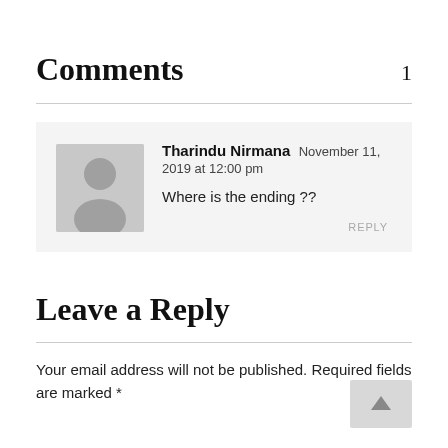Comments 1
Tharindu Nirmana  November 11, 2019 at 12:00 pm
Where is the ending ??
REPLY
Leave a Reply
Your email address will not be published. Required fields are marked *